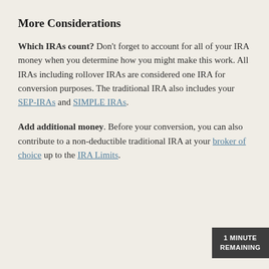More Considerations
Which IRAs count? Don’t forget to account for all of your IRA money when you determine how you might make this work. All IRAs including rollover IRAs are considered one IRA for conversion purposes. The traditional IRA also includes your SEP-IRAs and SIMPLE IRAs.
Add additional money. Before your conversion, you can also contribute to a non-deductible traditional IRA at your broker of choice up to the IRA Limits.
1 MINUTE REMAINING